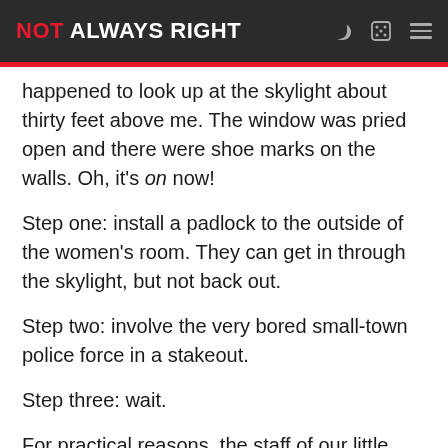NOT ALWAYS RIGHT
happened to look up at the skylight about thirty feet above me. The window was pried open and there were shoe marks on the walls. Oh, it's on now!
Step one: install a padlock to the outside of the women's room. They can get in through the skylight, but not back out.
Step two: involve the very bored small-town police force in a stakeout.
Step three: wait.
For practical reasons, the staff of our little café were not invited to the stakeout, but from what I heard it went down about like this.